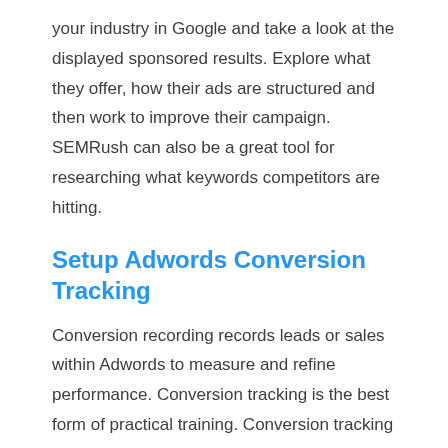your industry in Google and take a look at the displayed sponsored results. Explore what they offer, how their ads are structured and then work to improve their campaign. SEMRush can also be a great tool for researching what keywords competitors are hitting.
Setup Adwords Conversion Tracking
Conversion recording records leads or sales within Adwords to measure and refine performance. Conversion tracking is the best form of practical training. Conversion tracking lets you test assumptions, and learn from your mistakes and successes. This can save you allot of money by learning sooner than later what is working well and what is not. Sometimes new advertisers will stop using